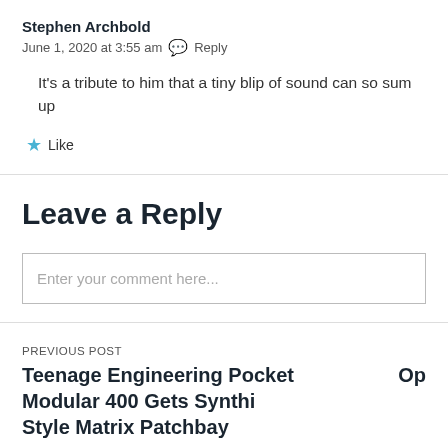Stephen Archbold
June 1, 2020 at 3:55 am  Reply
It's a tribute to him that a tiny blip of sound can so sum up
Like
Leave a Reply
Enter your comment here...
PREVIOUS POST
Teenage Engineering Pocket Modular 400 Gets Synthi Style Matrix Patchbay
Op